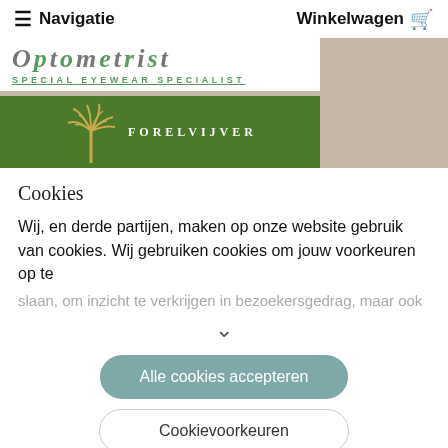☰ Navigatie   Winkelwagen 🛒
[Figure (logo): Optometrist logo with text 'SPECIAL EYEWEAR SPECIALIST' on white background, next to beige/taupe background area. Below: green Forelvijver banner with palm/plant illustration.]
Cookies
Wij, en derde partijen, maken op onze website gebruik van cookies. Wij gebruiken cookies om jouw voorkeuren op te slaan, om inzicht te verkrijgen in bezoekersgedrag, maar ook
Alle cookies accepteren
Cookievoorkeuren